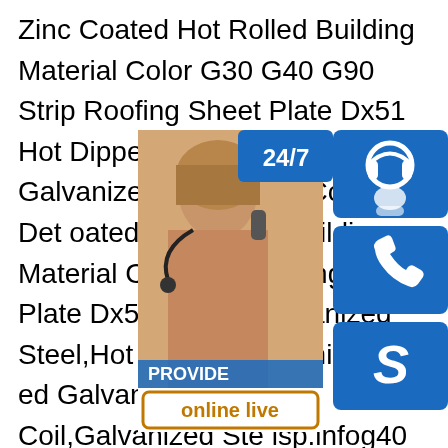Zinc Coated Hot Rolled Building Material Color G30 G40 G90 Strip Roofing Sheet Plate Dx51 Hot Dipped Precoated Hot Rolled Building Material Color G30 G40 G90 Strip Roofing Sheet Plate Dx51 Hot Dipped Galvanized Steel,Hot Dipped Galvanized Steel Coil,Galvanized Steel Coil,Galvanized Steel lsp.infog40 mac galvanized steel coil - y st common method of galvanizing steel is anized process.Camden Yards Steel carry of galvanized steel products including galvanized steel sheet galvanized steel coil and galvanized steel slit coil in G30 G40sp.infoRelated searches for oem g40 g90 coils sheetsg90 sheet metal specsg90 sheet metalg90 sheet metal submittals12345NextProducts — Camden Yards Ste
[Figure (infographic): Customer service widget showing a headset operator photo with 24/7 badge, phone icon, Skype icon, and online live button]